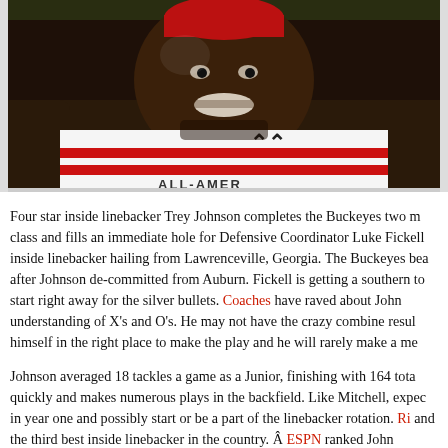[Figure (photo): Close-up photo of a smiling football player wearing a white Under Armour jersey with red stripes, appearing to be celebrating.]
Four star inside linebacker Trey Johnson completes the Buckeyes two m class and fills an immediate hole for Defensive Coordinator Luke Fickell inside linebacker hailing from Lawrenceville, Georgia. The Buckeyes bea after Johnson de-committed from Auburn. Fickell is getting a southern to start right away for the silver bullets. Coaches have raved about John understanding of X's and O's. He may not have the crazy combine resul himself in the right place to make the play and he will rarely make a me
Johnson averaged 18 tackles a game as a Junior, finishing with 164 tota quickly and makes numerous plays in the backfield. Like Mitchell, expec in year one and possibly start or be a part of the linebacker rotation. Ri and the third best inside linebacker in the country. Â ESPN ranked John